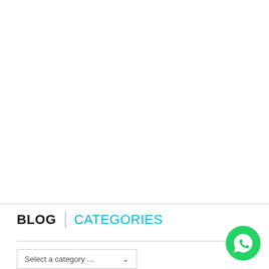BLOG | CATEGORIES
[Figure (other): Dropdown selector with label 'Select a category ...' and a chevron arrow on the right]
[Figure (other): WhatsApp floating action button — green circle with white phone handset icon]